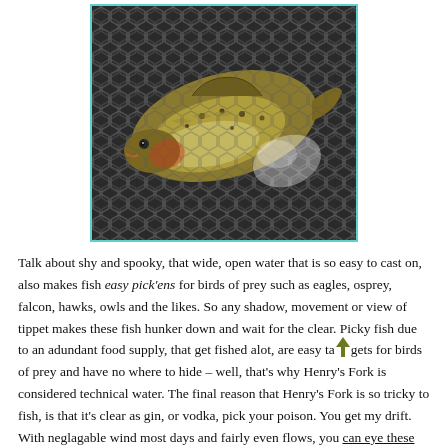[Figure (photo): A fish (trout) in a net with hexagonal mesh pattern, viewed from above. The fish is golden-green colored with spots, lying in a rubber landing net.]
Talk about shy and spooky, that wide, open water that is so easy to cast on, also makes fish easy pick'ens for birds of prey such as eagles, osprey, falcon, hawks, owls and the likes. So any shadow, movement or view of tippet makes these fish hunker down and wait for the clear. Picky fish due to an adundant food supply, that get fished alot, are easy targets for birds of prey and have no where to hide – well, that's why Henry's Fork is considered technical water. The final reason that Henry's Fork is so tricky to fish, is that it's clear as gin, or vodka, pick your poison. You get my drift. With neglagable wind most days and fairly even flows, you can eye these fish and they can eye you right back. Ah, the yin and the